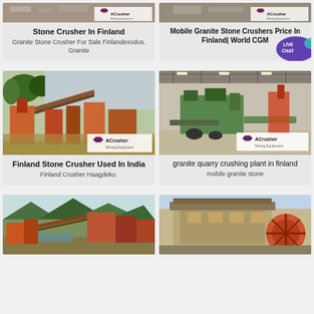[Figure (photo): Stone crusher machinery photo with ACrusher watermark logo - top left card image (partial)]
Stone Crusher In Finland
Granite Stone Crusher For Sale Finlandexodus. Granite
[Figure (photo): Mobile granite stone crusher photo with ACrusher watermark logo - top right card image (partial)]
Mobile Granite Stone Crushers Price In Finland| World CGM
[Figure (infographic): Live Chat speech bubble icon in purple/teal]
[Figure (photo): Finland stone crusher used in India - outdoor crusher plant with trees and industrial equipment, ACrusher logo]
Finland Stone Crusher Used In India
Finland Crusher Haagdeko.
[Figure (photo): Granite quarry crushing plant in finland - indoor warehouse with green machinery, ACrusher logo]
granite quarry crushing plant in finland
mobile granite stone
[Figure (photo): Bottom left crusher plant photo by river/mountains]
[Figure (photo): Bottom right crusher facility building photo]